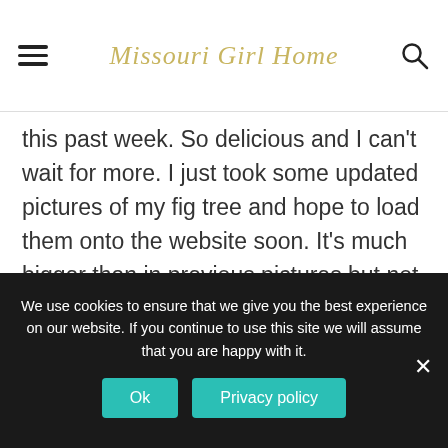Missouri Girl Home
this past week. So delicious and I can't wait for more. I just took some updated pictures of my fig tree and hope to load them onto the website soon. It's much bigger than in previous pictures but not unmanageable (approximately 8 feet tall and wide). It is in a raised planter bed on the south side of my home, which may help to manage it's size. Highly recommend this tree! Go for the
We use cookies to ensure that we give you the best experience on our website. If you continue to use this site we will assume that you are happy with it.
Ok   Privacy policy